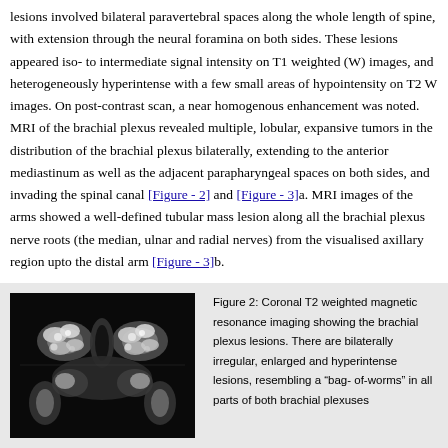lesions involved bilateral paravertebral spaces along the whole length of spine, with extension through the neural foramina on both sides. These lesions appeared iso- to intermediate signal intensity on T1 weighted (W) images, and heterogeneously hyperintense with a few small areas of hypointensity on T2 W images. On post-contrast scan, a near homogenous enhancement was noted. MRI of the brachial plexus revealed multiple, lobular, expansive tumors in the distribution of the brachial plexus bilaterally, extending to the anterior mediastinum as well as the adjacent parapharyngeal spaces on both sides, and invading the spinal canal [Figure - 2] and [Figure - 3]a. MRI images of the arms showed a well-defined tubular mass lesion along all the brachial plexus nerve roots (the median, ulnar and radial nerves) from the visualised axillary region upto the distal arm [Figure - 3]b.
[Figure (photo): Coronal T2 weighted MRI image showing brachial plexus lesions — black and white MRI scan showing bilateral irregular enlarged hyperintense lesions resembling a bag-of-worms pattern]
Figure 2: Coronal T2 weighted magnetic resonance imaging showing the brachial plexus lesions. There are bilaterally irregular, enlarged and hyperintense lesions, resembling a “bag- of-worms” in all parts of both brachial plexuses